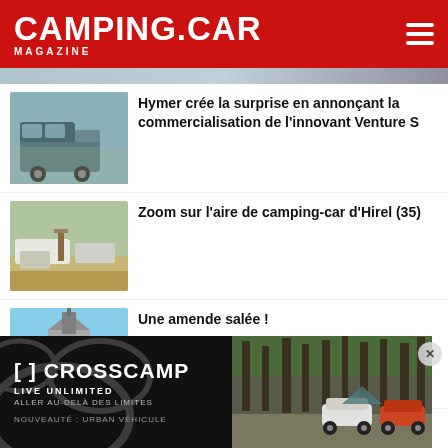CAMPING.CAR MAGAZINE
[Figure (photo): Partial top image of a vehicle or scene, cropped at top]
[Figure (photo): Blue-green Hymer Venture S camper van]
Hymer crée la surprise en annonçant la commercialisation de l'innovant Venture S
[Figure (photo): Camping car parking area at Hirel (35)]
Zoom sur l'aire de camping-car d'Hirel (35)
[Figure (photo): Church building photo for 'Une amende salée' article]
Une amende salée !
[Figure (photo): Crosscamp advertisement banner: LIVE UNLIMITED / ALLER AU-DELÀ DES LIMITES / NOUVEAUTÉ: URBAN VÉHICULE — with forest/car image on right side]